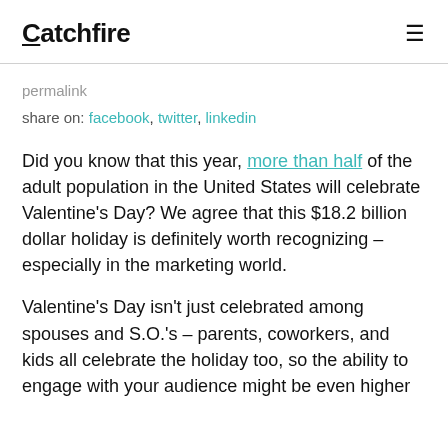Catchfire
permalink
share on: facebook, twitter, linkedin
Did you know that this year, more than half of the adult population in the United States will celebrate Valentine's Day? We agree that this $18.2 billion dollar holiday is definitely worth recognizing – especially in the marketing world.
Valentine's Day isn't just celebrated among spouses and S.O.'s – parents, coworkers, and kids all celebrate the holiday too, so the ability to engage with your audience might be even higher